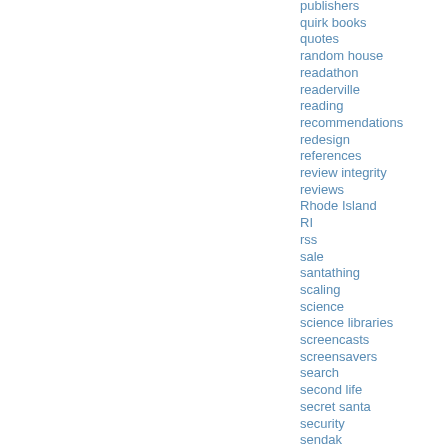publishers
quirk books
quotes
random house
readathon
readerville
reading
recommendations
redesign
references
review integrity
reviews
Rhode Island
RI
rss
sale
santathing
scaling
science
science libraries
screencasts
screensavers
search
second life
secret santa
security
sendak
series
server
servers
sexdactyly
shelfari
simon and schuster